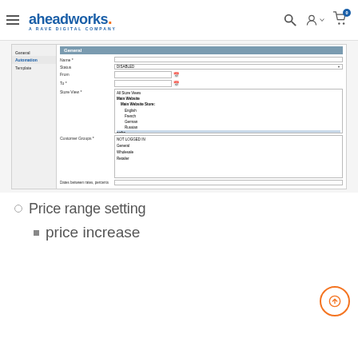aheadworks. A RAVE DIGITAL COMPANY
[Figure (screenshot): Admin form screenshot showing General settings panel with fields: Name, Status (ENABLED), From, To, Store View (All Store Views / Main Website / Main Website Store: English, French, German, Russian / webs / webs / webs options listed), Customer Groups (NOT LOGGED IN, General, Wholesale, Retailer), and Dates between rates, percents field.]
Price range setting
price increase